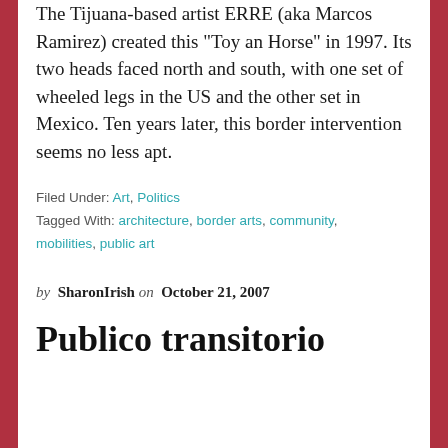The Tijuana-based artist ERRE (aka Marcos Ramirez) created this “Toy an Horse” in 1997. Its two heads faced north and south, with one set of wheeled legs in the US and the other set in Mexico. Ten years later, this border intervention seems no less apt.
Filed Under: Art, Politics
Tagged With: architecture, border arts, community, mobilities, public art
by SharonIrish on October 21, 2007
Publico transitorio